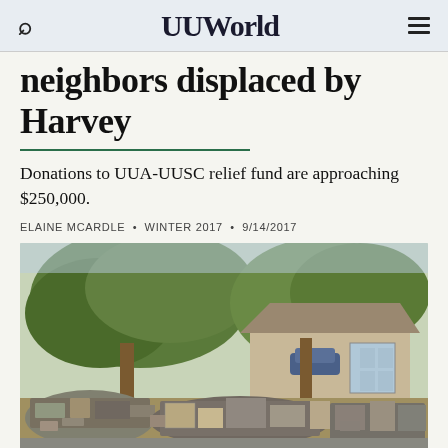UUWorld
neighbors displaced by Harvey
Donations to UUA-UUSC relief fund are approaching $250,000.
ELAINE MCARDLE • WINTER 2017 • 9/14/2017
[Figure (photo): Outdoor scene showing a residential neighborhood with large oak trees and a house in the background. The foreground shows large piles of flood-damaged debris and household items piled on the curb, typical of Hurricane Harvey flood cleanup.]